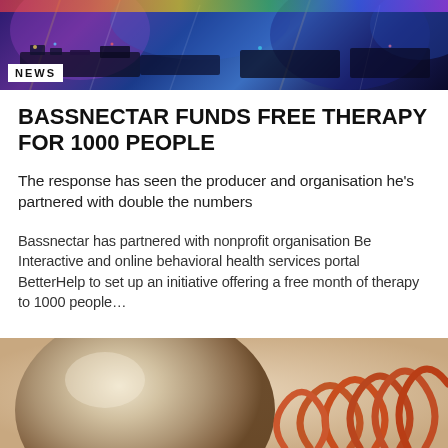[Figure (photo): Concert/festival scene with colorful stage lighting, blues and purples, DJ equipment visible]
NEWS
BASSNECTAR FUNDS FREE THERAPY FOR 1000 PEOPLE
The response has seen the producer and organisation he's partnered with double the numbers
Bassnectar has partnered with nonprofit organisation Be Interactive and online behavioral health services portal BetterHelp to set up an initiative offering a free month of therapy to 1000 people…
[Figure (photo): Abstract/artistic image with metallic round shape on left and copper/orange spiral coils on right, beige/tan background]